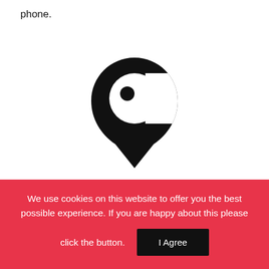phone.
[Figure (logo): CabMyRide location pin logo — a stylized black map pin with a circular cutout forming a 'C' shape with a dot inside, the pin tapers to a point at the bottom]
CabMyRide
We use cookies on this website to offer you the best possible experience. If you are happy about this please click the button.
I Agree